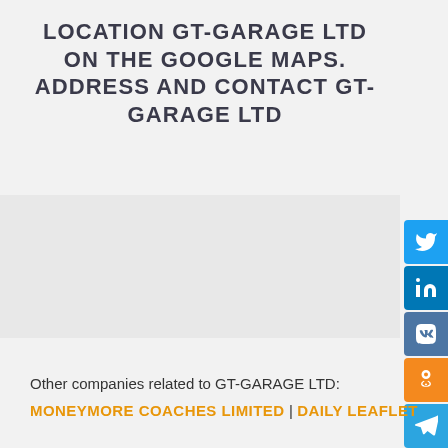LOCATION GT-GARAGE LTD ON THE GOOGLE MAPS. ADDRESS AND CONTACT GT-GARAGE LTD
[Figure (map): Embedded Google Map placeholder area showing location of GT-GARAGE LTD]
Other companies related to GT-GARAGE LTD:
MONEYMORE COACHES LIMITED | DAILY LEAFLET